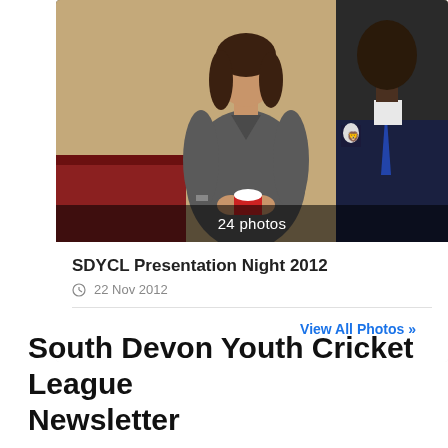[Figure (photo): Two people posing at an indoor event, one holding a small trophy or award. Photo is part of an album titled SDYCL Presentation Night 2012, showing 24 photos.]
24 photos
SDYCL Presentation Night 2012
22 Nov 2012
View All Photos »
South Devon Youth Cricket League Newsletter